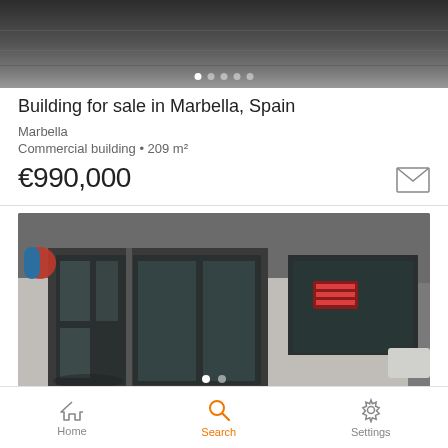[Figure (photo): Top partial image showing an interior or parking ceiling area, with image carousel dots at bottom]
Building for sale in Marbella, Spain
Marbella
Commercial building • 209 m²
€990,000
[Figure (photo): Exterior photo of a commercial building in Marbella showing entrance doors, glass facade, and windows. A red/blue parking sign is visible on the left.]
Home   Search   Settings